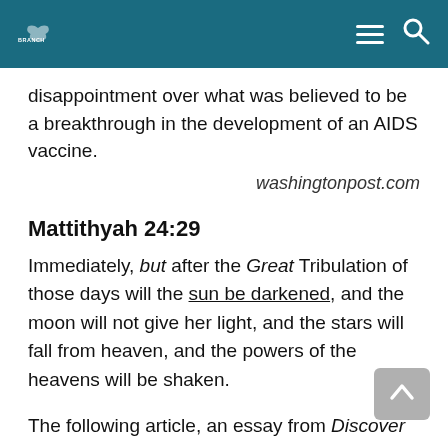BRANCH
disappointment over what was believed to be a breakthrough in the development of an AIDS vaccine.
washingtonpost.com
Mattithyah 24:29
Immediately, but after the Great Tribulation of those days will the sun be darkened, and the moon will not give her light, and the stars will fall from heaven, and the powers of the heavens will be shaken.
The following article, an essay from Discover